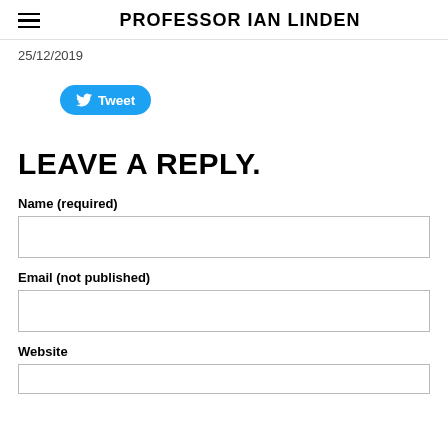PROFESSOR IAN LINDEN
25/12/2019
[Figure (other): Twitter Tweet button widget]
LEAVE A REPLY.
Name (required)
Email (not published)
Website